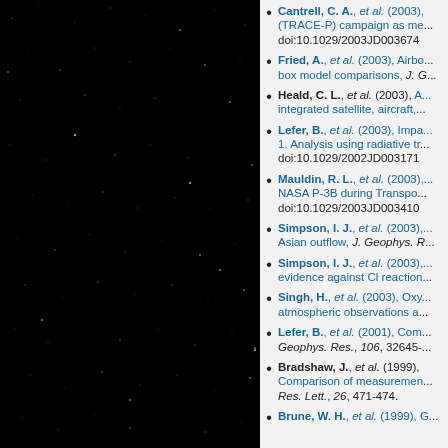[Figure (photo): Black starfield/night sky photograph showing scattered stars against a dark background, occupying the left portion of the page.]
Cantrell, C. A., et al. (2003), ... (TRACE-P) campaign as me... doi:10.1029/2003JD003674
Fried, A., et al. (2003), Airbo... box model comparisons, J. ...
Heald, C. L., et al. (2003), A... integrated satellite, aircraft, ...
Lefer, B., et al. (2003), Impa... 1. Analysis using radiative tr... doi:10.1029/2002JD003171
Mauldin, R. L., et al. (2003), ... NASA P-3B during Transpo... doi:10.1029/2003JD003410
Simpson, I. J., et al. (2003), ... Asian outflow, J. Geophys. R...
Simpson, I. J., et al. (2003), ... evidence against Cl reaction...
Singh, H., et al. (2003), Oxy... atmospheric observations a...
Lefer, B., et al. (2001), Com... Geophys. Res., 106, 32645-...
Bradshaw, J., et al. (1999), ... Comparison of measuremen... Res. Lett., 26, 471-474.
Brune, W. H., et al. (1999), ...